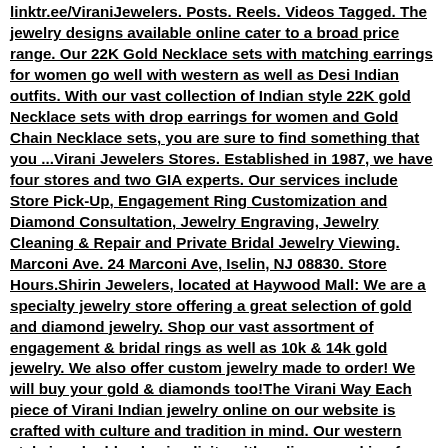linktr.ee/ViraniJewelers. Posts. Reels. Videos Tagged. The jewelry designs available online cater to a broad price range. Our 22K Gold Necklace sets with matching earrings for women go well with western as well as Desi Indian outfits. With our vast collection of Indian style 22K gold Necklace sets with drop earrings for women and Gold Chain Necklace sets, you are sure to find something that you ...Virani Jewelers Stores. Established in 1987, we have four stores and two GIA experts. Our services include Store Pick-Up, Engagement Ring Customization and Diamond Consultation, Jewelry Engraving, Jewelry Cleaning & Repair and Private Bridal Jewelry Viewing. Marconi Ave. 24 Marconi Ave, Iselin, NJ 08830. Store Hours.Shirin Jewelers, located at Haywood Mall: We are a specialty jewelry store offering a great selection of gold and diamond jewelry. Shop our vast assortment of engagement & bridal rings as well as 10k & 14k gold jewelry. We also offer custom jewelry made to order! We will buy your gold & diamonds too!The Virani Way Each piece of Virani Indian jewelry online on our website is crafted with culture and tradition in mind. Our western style jewelry blends simplicity with radiance, making for the perfect everyday jewelry pieces. Browse through our collections of fine jewelry in both western and traditional Indian jewelry designs. Shop For 22K Gold Michelle Charlesworth has the details. ISELIN, New Jersey (WABC) -- Police are on the hunt for suspects in a brazen smash-and-grab robbery at a jewelry store in New Jersey. It